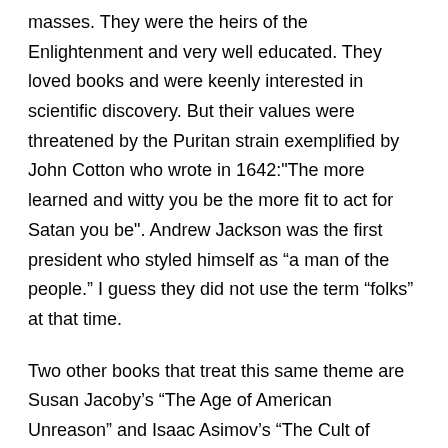masses. They were the heirs of the Enlightenment and very well educated. They loved books and were keenly interested in scientific discovery. But their values were threatened by the Puritan strain exemplified by John Cotton who wrote in 1642:"The more learned and witty you be the more fit to act for Satan you be". Andrew Jackson was the first president who styled himself as “a man of the people.” I guess they did not use the term “folks” at that time.
Two other books that treat this same theme are Susan Jacoby’s “The Age of American Unreason” and Isaac Asimov’s “The Cult of Ignorance.” Both report an unfortunate belief shared by many people who don’t have any respect for knowledge and who then say “Democracy means that my ignorance is as good as your knowledge.” Thus the dumbing down of America. We call intellectuals eggheads, nerds, geeks and dorks. About half of Americans